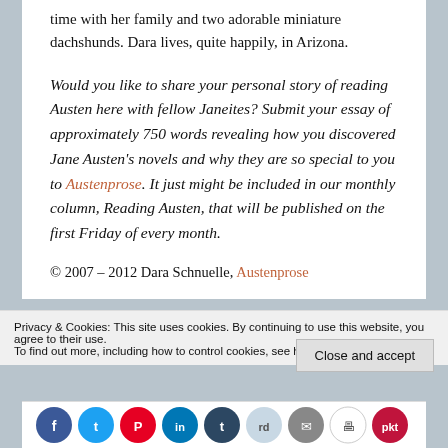time with her family and two adorable miniature dachshunds. Dara lives, quite happily, in Arizona.
Would you like to share your personal story of reading Austen here with fellow Janeites? Submit your essay of approximately 750 words revealing how you discovered Jane Austen’s novels and why they are so special to you to Austenprose. It just might be included in our monthly column, Reading Austen, that will be published on the first Friday of every month.
© 2007 – 2012 Dara Schnuelle, Austenprose
Privacy & Cookies: This site uses cookies. By continuing to use this website, you agree to their use.
To find out more, including how to control cookies, see here: Cookie Policy
Close and accept